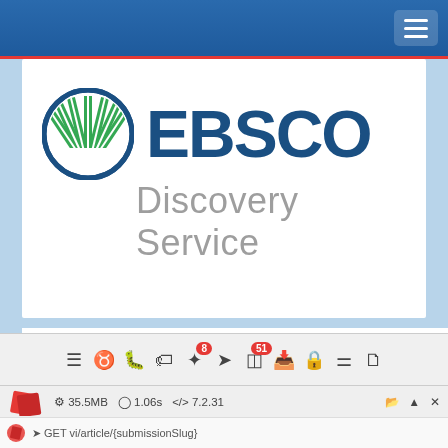[Figure (logo): EBSCO Discovery Service logo with circular green/blue icon and blue EBSCO text with gray Discovery Service subtitle]
[Figure (logo): Google Scholar logo text partially visible at bottom, showing colorful Google letters and gray Scholar text]
[Figure (screenshot): Browser toolbar with icons including debug, tags, feather, share buttons with badges showing 8 and 51, plus inbox, lock, and other icons]
35.5MB  1.06s  7.2.31
GET vi/article/{submissionSlug}